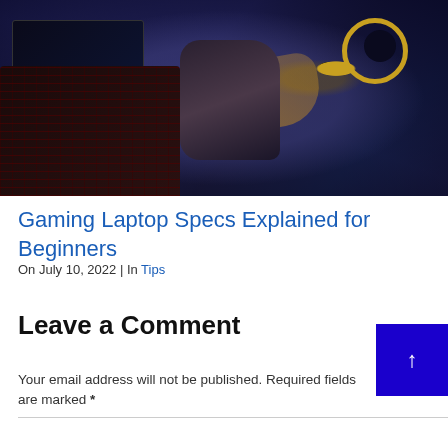[Figure (photo): Dark overhead view of a gamer using a gaming laptop with mechanical keyboard (glowing red keys), holding a game controller, wearing a hoodie with gold-ringed headphones visible. Dark blue/navy tones with orange accent colors.]
Gaming Laptop Specs Explained for Beginners
On July 10, 2022 | In Tips
Leave a Comment
Your email address will not be published. Required fields are marked *